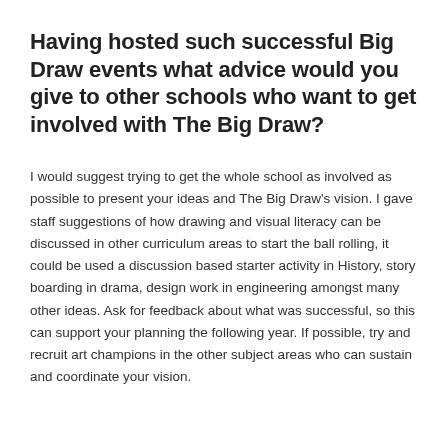Having hosted such successful Big Draw events what advice would you give to other schools who want to get involved with The Big Draw?
I would suggest trying to get the whole school as involved as possible to present your ideas and The Big Draw's vision. I gave staff suggestions of how drawing and visual literacy can be discussed in other curriculum areas to start the ball rolling, it could be used a discussion based starter activity in History, story boarding in drama, design work in engineering amongst many other ideas. Ask for feedback about what was successful, so this can support your planning the following year. If possible, try and recruit art champions in the other subject areas who can sustain and coordinate your vision.